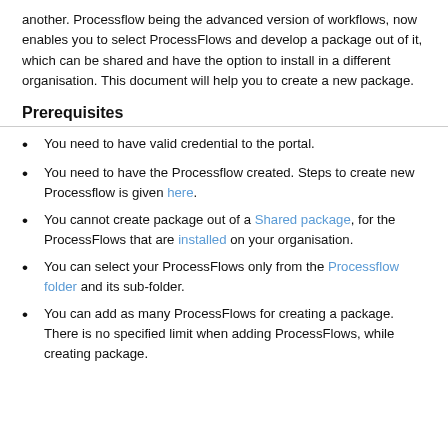another. Processflow being the advanced version of workflows, now enables you to select ProcessFlows and develop a package out of it, which can be shared and have the option to install in a different organisation. This document will help you to create a new package.
Prerequisites
You need to have valid credential to the portal.
You need to have the Processflow created. Steps to create new Processflow is given here.
You cannot create package out of a Shared package, for the ProcessFlows that are installed on your organisation.
You can select your ProcessFlows only from the Processflow folder and its sub-folder.
You can add as many ProcessFlows for creating a package. There is no specified limit when adding ProcessFlows, while creating package.